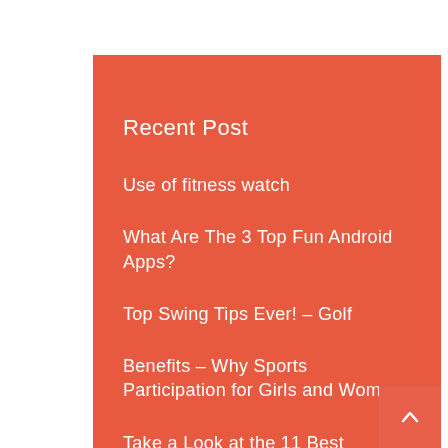Recent Post
Use of fitness watch
What Are The 3 Top Fun Android Apps?
Top Swing Tips Ever! – Golf
Benefits – Why Sports Participation for Girls and Women
Take a Look at the 11 Best Portable Basketball Hoops in 2019